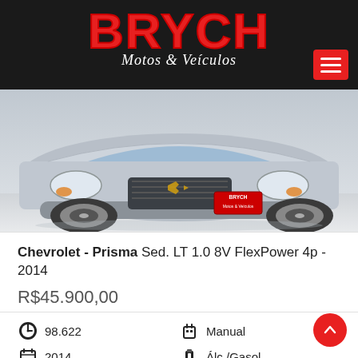BRYCH Motos & Veículos
[Figure (photo): Front view of a silver Chevrolet Prisma sedan with a Brych dealer plate on the bumper, parked indoors on a light floor.]
Chevrolet - Prisma Sed. LT 1.0 8V FlexPower 4p - 2014
R$45.900,00
98.622
Manual
2014
Álc./Gasol.